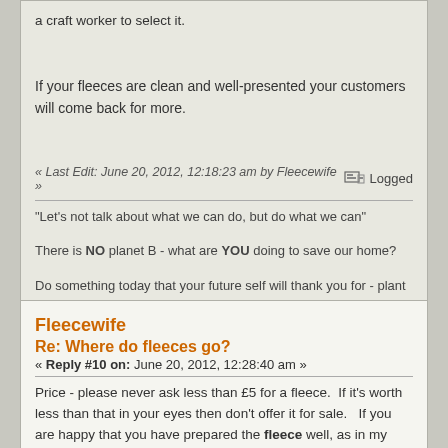a craft worker to select it.
If your fleeces are clean and well-presented your customers will come back for more.
« Last Edit: June 20, 2012, 12:18:23 am by Fleecewife »   Logged
"Let's not talk about what we can do, but do what we can"
There is NO planet B - what are YOU doing to save our home?
Do something today that your future self will thank you for - plant a tree
Love your soil - it's the lifeblood of your land.
Fleecewife
Re: Where do fleeces go?
« Reply #10 on: June 20, 2012, 12:28:40 am »
Price - please never ask less than £5 for a fleece.  If it's worth less than that in your eyes then don't offer it for sale.   If you are happy that you have prepared the fleece well, as in my